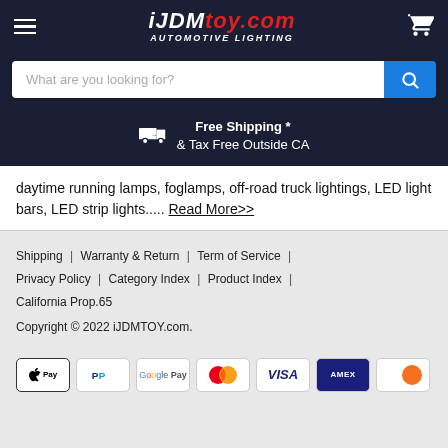[Figure (logo): iJDMTOY.com Automotive Lighting logo on dark navy background with hamburger menu and cart icon]
What are you looking for?
Free Shipping * & Tax Free Outside CA
daytime running lamps, foglamps, off-road truck lightings, LED light bars, LED strip lights..... Read More>>
Shipping | Warranty & Return | Term of Service | Privacy Policy | Category Index | Product Index | California Prop.65
Copyright © 2022 iJDMTOY.com.
[Figure (other): Payment method icons: Apple Pay, PayPal, Google Pay, Mastercard, Visa, Amex, Discover]